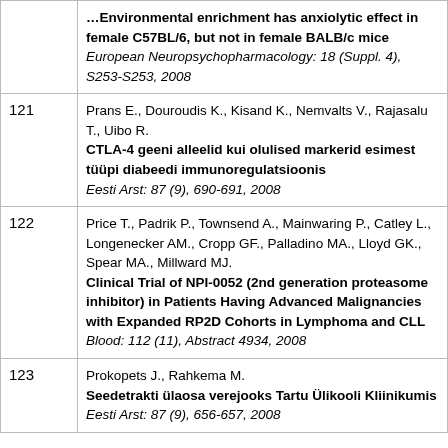| # | Reference |
| --- | --- |
|  | ...Environmental enrichment has anxiolytic effect in female C57BL/6, but not in female BALB/c mice
European Neuropsychopharmacology: 18 (Suppl. 4), S253-S253, 2008 |
| 121 | Prans E., Douroudis K., Kisand K., Nemvalts V., Rajasalu T., Uibo R.
CTLA-4 geeni alleelid kui olulised markerid esimest tüüpi diabeedi immunoregulatsioonis
Eesti Arst: 87 (9), 690-691, 2008 |
| 122 | Price T., Padrik P., Townsend A., Mainwaring P., Catley L., Longenecker AM., Cropp GF., Palladino MA., Lloyd GK., Spear MA., Millward MJ.
Clinical Trial of NPI-0052 (2nd generation proteasome inhibitor) in Patients Having Advanced Malignancies with Expanded RP2D Cohorts in Lymphoma and CLL
Blood: 112 (11), Abstract 4934, 2008 |
| 123 | Prokopets J., Rahkema M.
Seedetrakti ülaosa verejooks Tartu Ülikooli Kliinikumis
Eesti Arst: 87 (9), 656-657, 2008 |